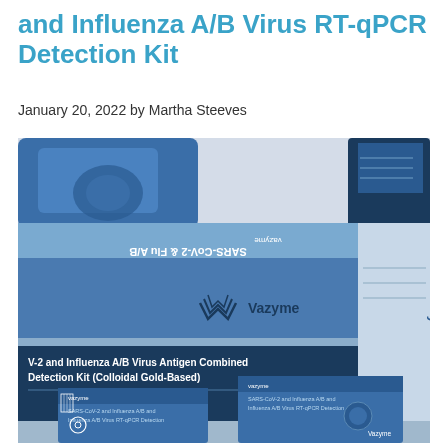and Influenza A/B Virus RT-qPCR Detection Kit
January 20, 2022 by Martha Steeves
[Figure (photo): Photo of Vazyme SARS-CoV-2 and Influenza A/B Virus Antigen Combined Detection Kit (Colloidal Gold-Based), Specification: 20 tests/kit, shown in blue product boxes with Vazyme branding, along with smaller kit components in the foreground.]